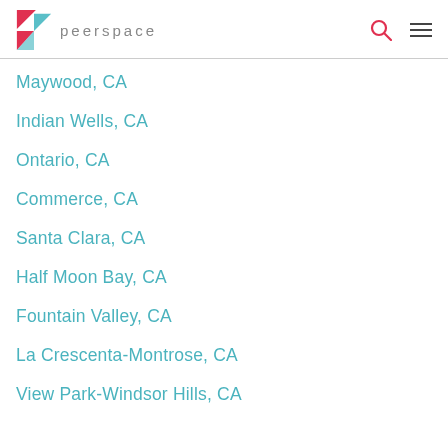peerspace
Maywood, CA
Indian Wells, CA
Ontario, CA
Commerce, CA
Santa Clara, CA
Half Moon Bay, CA
Fountain Valley, CA
La Crescenta-Montrose, CA
View Park-Windsor Hills, CA